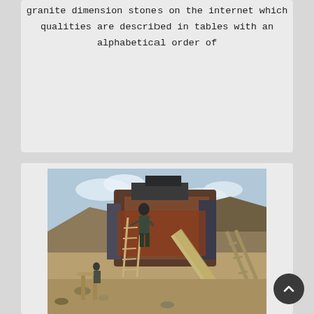granite dimension stones on the internet which qualities are described in tables with an alphabetical order of
[Figure (photo): Photograph of a large industrial stone crushing or screening machine at an open-air quarry site. A worker stands on the machine with a ladder leaning against it. A conveyor belt is visible on the right side. Rocky hillside and cloudy sky in the background.]